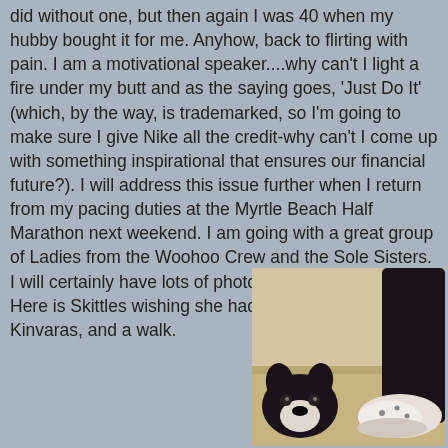did without one, but then again I was 40 when my hubby bought it for me. Anyhow, back to flirting with pain.  I am a motivational speaker....why can't I light a fire under my butt and as the saying goes, 'Just Do It'  (which, by the way, is trademarked, so I'm going to make sure I give Nike all the credit-why can't I come up with something inspirational that ensures our financial future?).  I will address this issue further when I return from my pacing duties at the Myrtle Beach Half Marathon next weekend.  I am going with a great group of Ladies from the Woohoo Crew and the Sole Sisters.  I will certainly have lots of photos to post from the race!  Here is Skittles wishing she had a matching pair of Kinvaras, and a walk.
[Figure (photo): A dog (appears to be a Boston Terrier, dark colored) lying on the floor next to a person's foot wearing a white polka-dot shoe/sneaker. The background shows a light-colored floor and wall.]